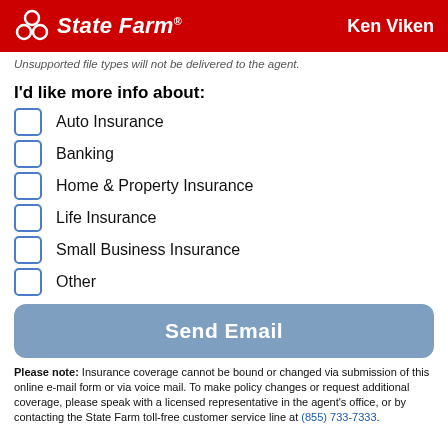State Farm — Ken Viken
Unsupported file types will not be delivered to the agent.
I'd like more info about:
Auto Insurance
Banking
Home & Property Insurance
Life Insurance
Small Business Insurance
Other
Send Email
Please note: Insurance coverage cannot be bound or changed via submission of this online e-mail form or via voice mail. To make policy changes or request additional coverage, please speak with a licensed representative in the agent's office, or by contacting the State Farm toll-free customer service line at (855) 733-7333.